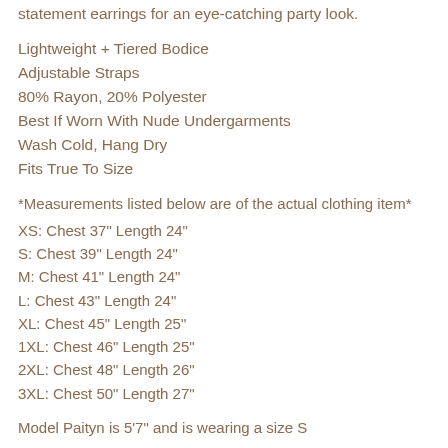statement earrings for an eye-catching party look.
Lightweight + Tiered Bodice
Adjustable Straps
80% Rayon, 20% Polyester
Best If Worn With Nude Undergarments
Wash Cold, Hang Dry
Fits True To Size
*Measurements listed below are of the actual clothing item*
XS: Chest 37" Length 24"
S: Chest 39" Length 24"
M: Chest 41" Length 24"
L: Chest 43" Length 24"
XL: Chest 45" Length 25"
1XL: Chest 46" Length 25"
2XL: Chest 48" Length 26"
3XL: Chest 50" Length 27"
Model Paityn is 5'7" and is wearing a size S